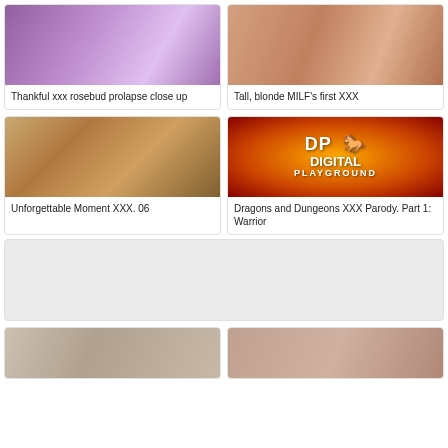[Figure (photo): Thumbnail image - purple tones]
Thankful xxx rosebud prolapse close up
[Figure (photo): Thumbnail image - skin tones]
Tall, blonde MILF's first XXX
[Figure (photo): Blonde woman in white dress]
Unforgettable Moment XXX. 06
[Figure (logo): Digital Playground logo on orange radial background]
Dragons and Dungeons XXX Parody. Part 1: Warrior
[Figure (photo): Wide placeholder grey area]
[Figure (photo): Two people scene bottom left]
[Figure (photo): Scene bottom right]